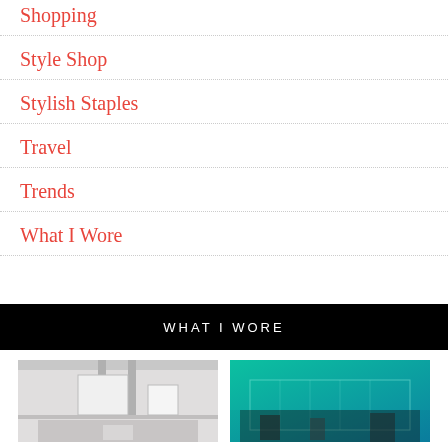Shopping
Style Shop
Stylish Staples
Travel
Trends
What I Wore
WHAT I WORE
[Figure (photo): Interior room photo, white/gray tones]
[Figure (photo): Building exterior with teal/green lighting]